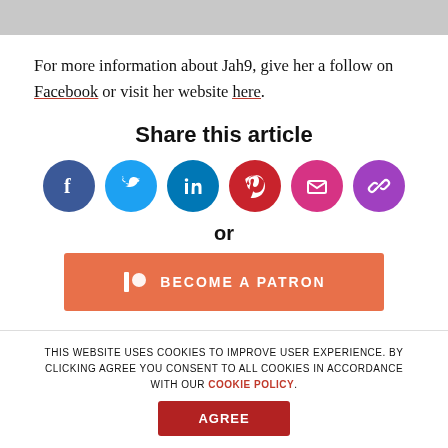[Figure (photo): Gray image placeholder bar at top of page]
For more information about Jah9, give her a follow on Facebook or visit her website here.
Share this article
[Figure (infographic): Row of 6 social share icon circles: Facebook (blue), Twitter (light blue), LinkedIn (dark blue), Pinterest (red), Email (pink), Link (purple)]
or
[Figure (infographic): Patreon button: orange rectangle with Patreon icon and text BECOME A PATRON]
THIS WEBSITE USES COOKIES TO IMPROVE USER EXPERIENCE. BY CLICKING AGREE YOU CONSENT TO ALL COOKIES IN ACCORDANCE WITH OUR COOKIE POLICY.